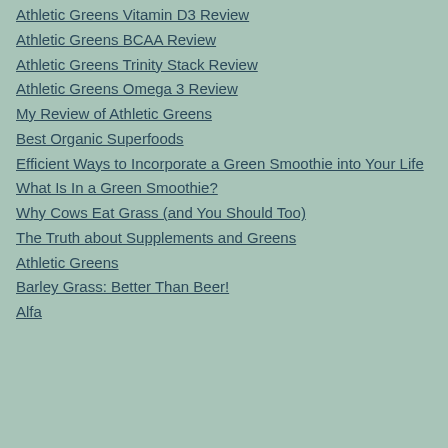Athletic Greens Vitamin D3 Review
Athletic Greens BCAA Review
Athletic Greens Trinity Stack Review
Athletic Greens Omega 3 Review
My Review of Athletic Greens
Best Organic Superfoods
Efficient Ways to Incorporate a Green Smoothie into Your Life
What Is In a Green Smoothie?
Why Cows Eat Grass (and You Should Too)
The Truth about Supplements and Greens
Athletic Greens
Barley Grass: Better Than Beer!
Alfa…